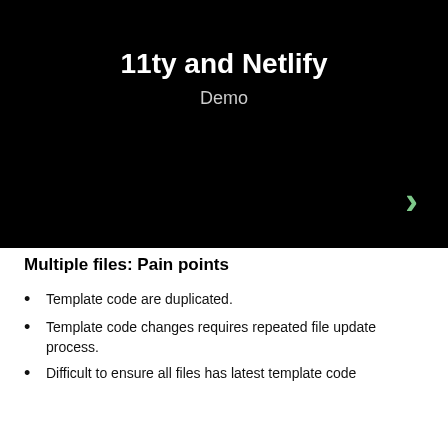[Figure (screenshot): Black slide with white bold title '11ty and Netlify' and subtitle 'Demo', with a green right-arrow chevron in the bottom-right corner]
Multiple files: Pain points
Template code are duplicated.
Template code changes requires repeated file update process.
Difficult to ensure all files has latest template code